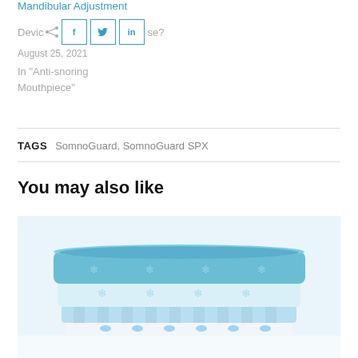Mandibular Adjustment
Device ... se? August 25, 2021
In "Anti-snoring Mouthpiece"
TAGS   SomnoGuard, SomnoGuard SPX
You may also like
[Figure (photo): Stack of folded blue and white patterned blankets/towels on a light background]